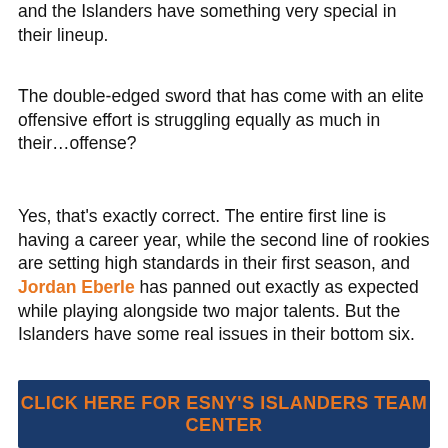and the Islanders have something very special in their lineup.
The double-edged sword that has come with an elite offensive effort is struggling equally as much in their…offense?
Yes, that's exactly correct. The entire first line is having a career year, while the second line of rookies are setting high standards in their first season, and Jordan Eberle has panned out exactly as expected while playing alongside two major talents. But the Islanders have some real issues in their bottom six.
CLICK HERE FOR ESNY's Islanders TEAM CENTER